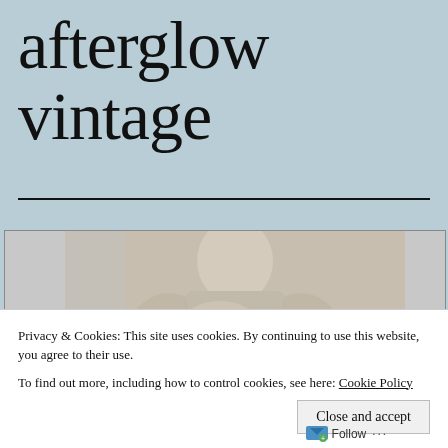afterglow vintage
[Figure (photo): A mannequin torso wearing draped fabric, photographed in muted neutral tones against a light background]
Privacy & Cookies: This site uses cookies. By continuing to use this website, you agree to their use.
To find out more, including how to control cookies, see here: Cookie Policy
Close and accept
Follow